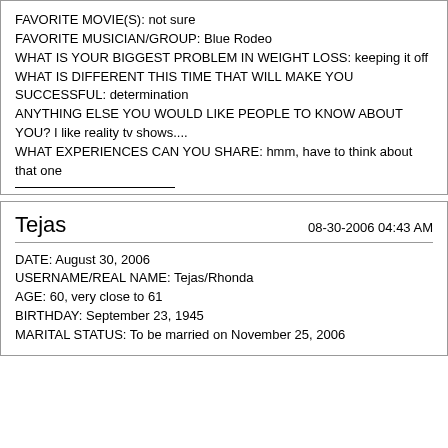FAVORITE MOVIE(S): not sure
FAVORITE MUSICIAN/GROUP: Blue Rodeo
WHAT IS YOUR BIGGEST PROBLEM IN WEIGHT LOSS: keeping it off
WHAT IS DIFFERENT THIS TIME THAT WILL MAKE YOU SUCCESSFUL: determination
ANYTHING ELSE YOU WOULD LIKE PEOPLE TO KNOW ABOUT YOU? I like reality tv shows....
WHAT EXPERIENCES CAN YOU SHARE: hmm, have to think about that one
Tejas   08-30-2006 04:43 AM
DATE: August 30, 2006
USERNAME/REAL NAME: Tejas/Rhonda
AGE: 60, very close to 61
BIRTHDAY: September 23, 1945
MARITAL STATUS: To be married on November 25, 2006